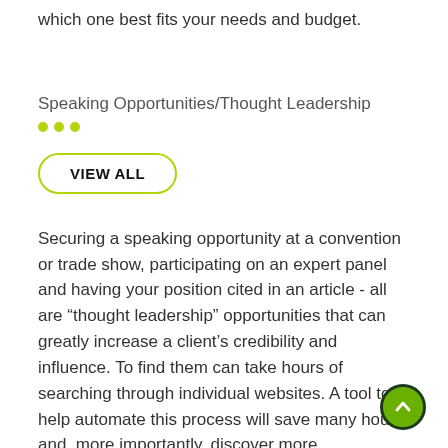which one best fits your needs and budget.
Speaking Opportunities/Thought Leadership
VIEW ALL
Securing a speaking opportunity at a convention or trade show, participating on an expert panel and having your position cited in an article - all are “thought leadership” opportunities that can greatly increase a client’s credibility and influence. To find them can take hours of searching through individual websites. A tool to help automate this process will save many hours and, more importantly, discover more opportunities than you could on your own. This category includes sources for expert databases where